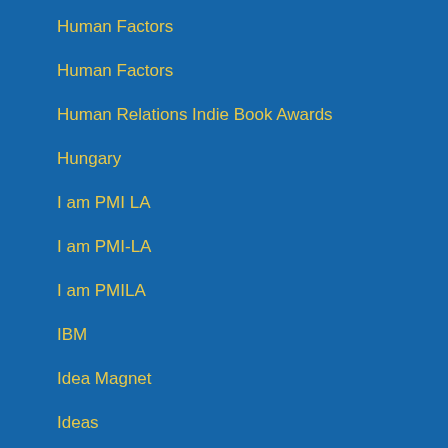Human Factors
Human Factors
Human Relations Indie Book Awards
Hungary
I am PMI LA
I am PMI-LA
I am PMILA
IBM
Idea Magnet
Ideas